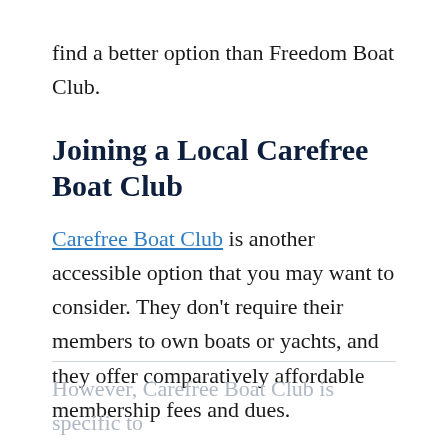find a better option than Freedom Boat Club.
Joining a Local Carefree Boat Club
Carefree Boat Club is another accessible option that you may want to consider. They don't require their members to own boats or yachts, and they offer comparatively affordable membership fees and dues.
However, Carefree Boat Club is specific to